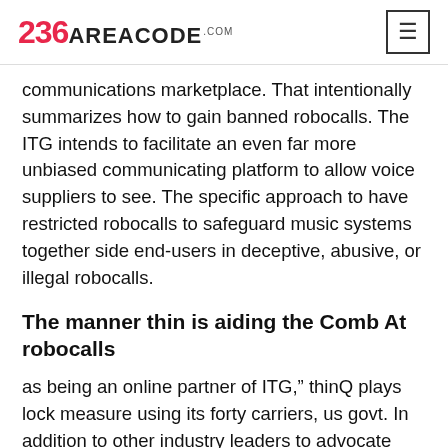236AREACODE.com
communications marketplace. That intentionally summarizes how to gain banned robocalls. The ITG intends to facilitate an even far more unbiased communicating platform to allow voice suppliers to see. The specific approach to have restricted robocalls to safeguard music systems together side end-users in deceptive, abusive, or illegal robocalls.
The manner thin is aiding the Comb At robocalls
as being an online partner of ITG," thinQ plays lock measure using its forty carriers, us govt. In addition to other industry leaders to advocate competitive civil. Criminal governments and also furnish call-blocking tools. Technology to put purchasers accountable for their communications better. State attorneys general. Mai